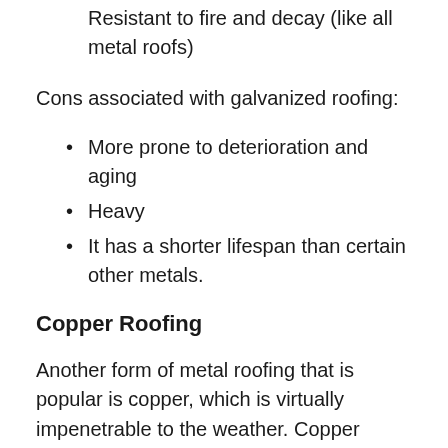Resistant to fire and decay (like all metal roofs)
Cons associated with galvanized roofing:
More prone to deterioration and aging
Heavy
It has a shorter lifespan than certain other metals.
Copper Roofing
Another form of metal roofing that is popular is copper, which is virtually impenetrable to the weather. Copper roofs, when properly placed, are rust and corrosion resistant and, in general, last a lifetime. Copper is incredibly robust and, when compared to other metals for their...